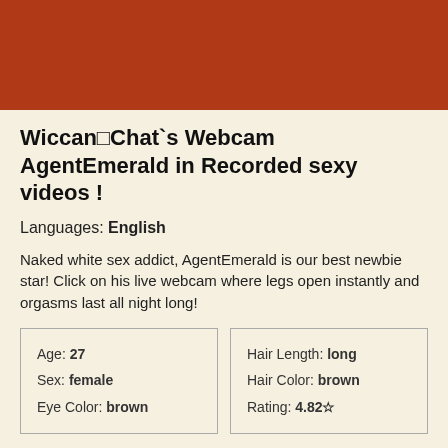[Figure (other): Solid dark reddish-brown header bar]
WiccanChat`s Webcam AgentEmerald in Recorded sexy videos !
Languages: English
Naked white sex addict, AgentEmerald is our best newbie star! Click on his live webcam where legs open instantly and orgasms last all night long!
| Age: 27 | Hair Length: long |
| Sex: female | Hair Color: brown |
| Eye Color: brown | Rating: 4.82☆ |